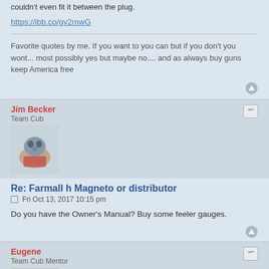couldn't even fit it between the plug.
https://ibb.co/gv2mwG
Favorite quotes by me. If you want to you can but if you don't you wont... most possibly yes but maybe no.... and as always buy guns keep America free
Jim Becker
Team Cub
Re: Farmall h Magneto or distributor
Fri Oct 13, 2017 10:15 pm
Do you have the Owner's Manual? Buy some feeler gauges.
Eugene
Team Cub Mentor
Re: Farmall h Magneto or distributor